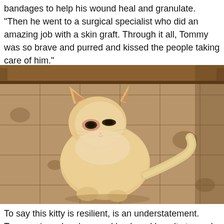bandages to help his wound heal and granulate. "Then he went to a surgical specialist who did an amazing job with a skin graft. Through it all, Tommy was so brave and purred and kissed the people taking care of him."
[Figure (photo): A fluffy cream/orange long-haired cat sitting on a tiled floor, looking upward. The cat appears to have some redness around its eye area. A wooden cabinet is visible in the background.]
To say this kitty is resilient, is an understatement. Tommy since, has bounced back and hasn't stopped